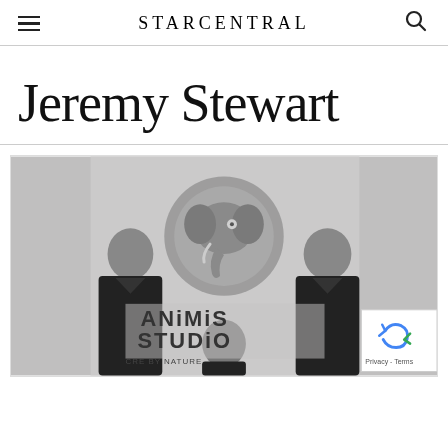STARCENTRAL
Jeremy Stewart
[Figure (photo): Black and white photo of three men standing in front of an Animis Studio logo (stylized elephant). Text on wall reads 'ANIMIS STUDIO CREATIVE BY NATURE'. A reCAPTCHA badge with 'Privacy - Terms' is visible in the bottom right corner.]